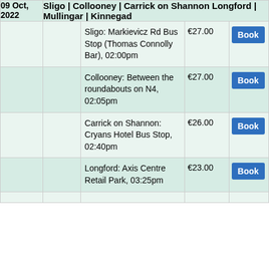| Date |  | Stop / Time | Price | Action |
| --- | --- | --- | --- | --- |
| 09 Oct, 2022 |  | Sligo | Collooney | Carrick on Shannon Longford | Mullingar | Kinnegad |  |  |
|  |  | Sligo: Markievicz Rd Bus Stop (Thomas Connolly Bar), 02:00pm | €27.00 | Book |
|  |  | Collooney: Between the roundabouts on N4, 02:05pm | €27.00 | Book |
|  |  | Carrick on Shannon: Cryans Hotel Bus Stop, 02:40pm | €26.00 | Book |
|  |  | Longford: Axis Centre Retail Park, 03:25pm | €23.00 | Book |